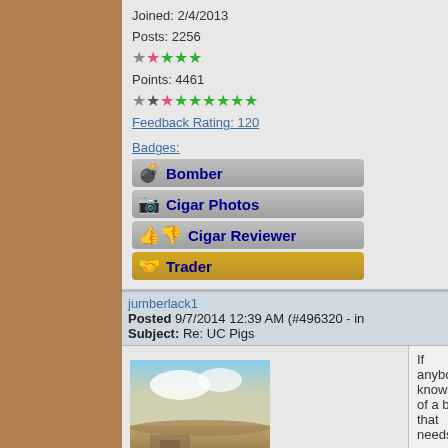Joined: 2/4/2013
Posts: 2256
Points: 4461
Feedback Rating: 120
Badges:
[Figure (infographic): Bomber badge - dark grey badge with bomb icon]
[Figure (infographic): Cigar Photos badge - grey badge with camera icon]
[Figure (infographic): Cigar Reviewer badge - grey badge with thumbs up/down icons]
[Figure (infographic): Trader badge - gold badge with hand icon]
jumberlack1
Posted 9/7/2014 12:39 AM (#496320 - in
Subject: Re: UC Pigs
If anybody knows of a box that needs
[Figure (photo): Outdoor photo with sky and sandy/rocky terrain]
Extreme Veteran